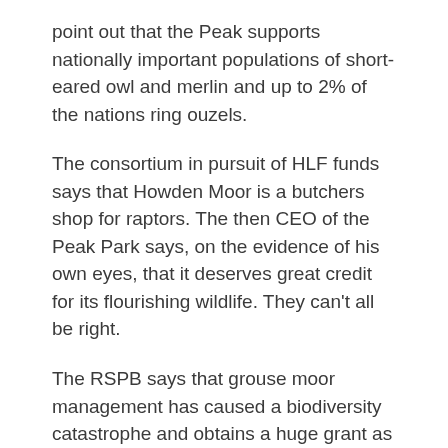point out that the Peak supports nationally important populations of short-eared owl and merlin and up to 2% of the nations ring ouzels.
The consortium in pursuit of HLF funds says that Howden Moor is a butchers shop for raptors. The then CEO of the Peak Park says, on the evidence of his own eyes, that it deserves great credit for its flourishing wildlife. They can't all be right.
The RSPB says that grouse moor management has caused a biodiversity catastrophe and obtains a huge grant as a result. The grouse moor community says they are wrong, and their moors are rich in waders and have